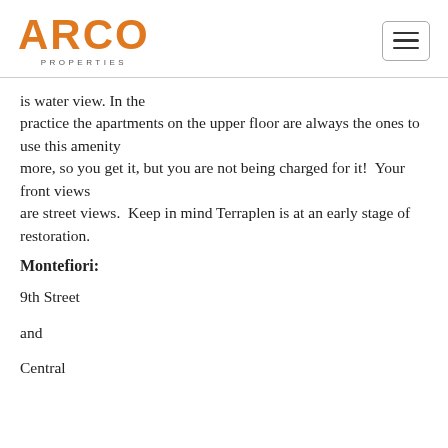ARCO PROPERTIES
is water view. In the practice the apartments on the upper floor are always the ones to use this amenity more, so you get it, but you are not being charged for it!  Your front views are street views.  Keep in mind Terraplen is at an early stage of restoration.
Montefiori:
9th Street
and
Central